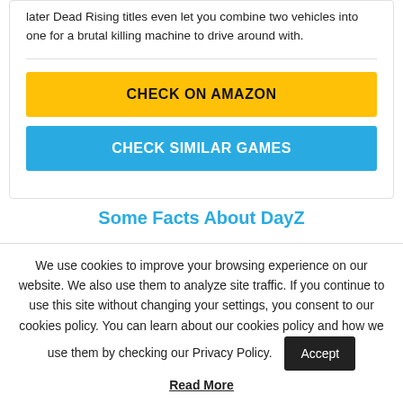later Dead Rising titles even let you combine two vehicles into one for a brutal killing machine to drive around with.
CHECK ON AMAZON
CHECK SIMILAR GAMES
Some Facts About DayZ
We use cookies to improve your browsing experience on our website. We also use them to analyze site traffic. If you continue to use this site without changing your settings, you consent to our cookies policy. You can learn about our cookies policy and how we use them by checking our Privacy Policy.
Accept
Read More